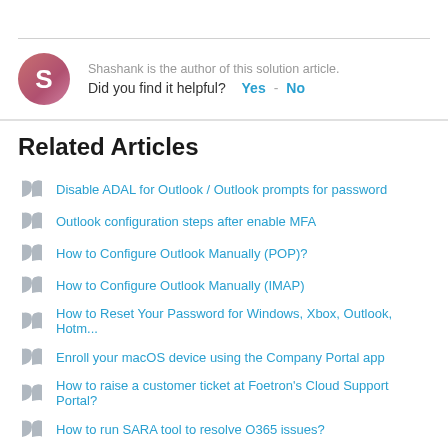Shashank is the author of this solution article. Did you find it helpful? Yes  No
Related Articles
Disable ADAL for Outlook / Outlook prompts for password
Outlook configuration steps after enable MFA
How to Configure Outlook Manually (POP)?
How to Configure Outlook Manually (IMAP)
How to Reset Your Password for Windows, Xbox, Outlook, Hotm...
Enroll your macOS device using the Company Portal app
How to raise a customer ticket at Foetron's Cloud Support Portal?
How to run SARA tool to resolve O365 issues?
Single and sequential approval flow in Power Automate
Single and sequential approval flow in Power Automate